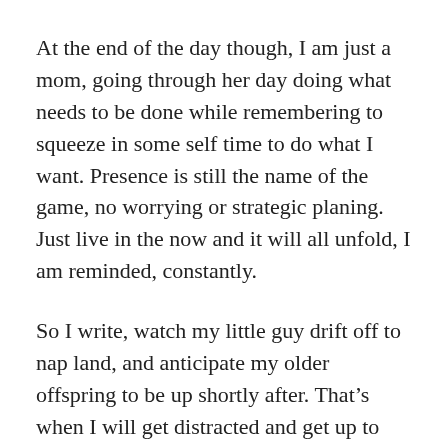At the end of the day though, I am just a mom, going through her day doing what needs to be done while remembering to squeeze in some self time to do what I want. Presence is still the name of the game, no worrying or strategic planing. Just live in the now and it will all unfold, I am reminded, constantly.
So I write, watch my little guy drift off to nap land, and anticipate my older offspring to be up shortly after. That’s when I will get distracted and get up to prep a meal. Quinoa salad is on the list today. Simple, filling, and can be snacked on all day. Some pool time later and another walk at night is what I’m thinking, but we will let the day just take it’s course.
I pulled an oracle card and reminded myself that